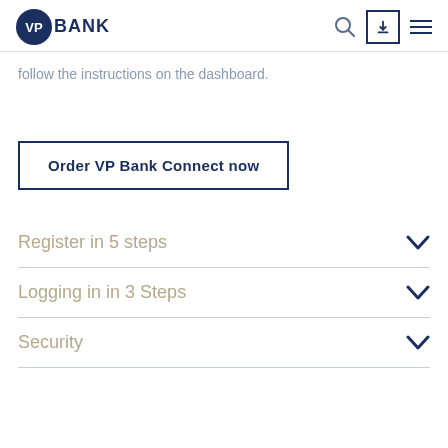VP Bank
follow the instructions on the dashboard.
Order VP Bank Connect now
Register in 5 steps
Logging in in 3 Steps
Security